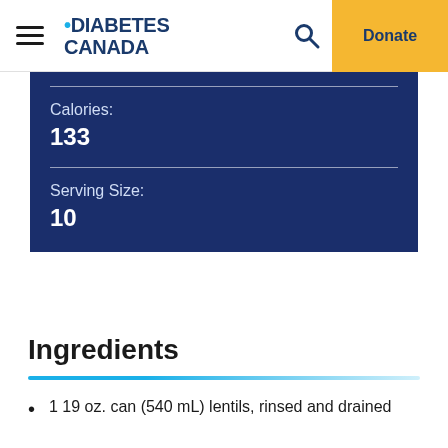Diabetes Canada | Donate
Calories: 133
Serving Size: 10
Ingredients
1 19 oz. can (540 mL) lentils, rinsed and drained